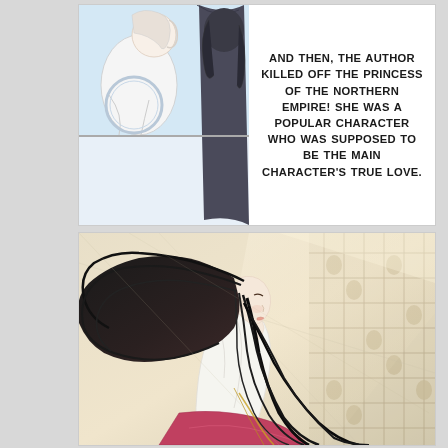[Figure (illustration): Top manga panel split into two parts: left side shows manga-style characters (a figure with white/grey hair on left, a dark silhouetted figure on right), separated by a horizontal line mid-panel. Right side contains speech bubble text.]
AND THEN, THE AUTHOR KILLED OFF THE PRINCESS OF THE NORTHERN EMPIRE! SHE WAS A POPULAR CHARACTER WHO WAS SUPPOSED TO BE THE MAIN CHARACTER'S TRUE LOVE.
[Figure (illustration): Large bottom manga panel showing a beautiful young woman with long flowing black hair, seen from behind/profile, wearing a white robe. Her hair streams dramatically in the wind. Background shows ornate lattice woodwork window patterns in warm beige/cream tones with light shining through. A hint of red/maroon fabric at the bottom.]